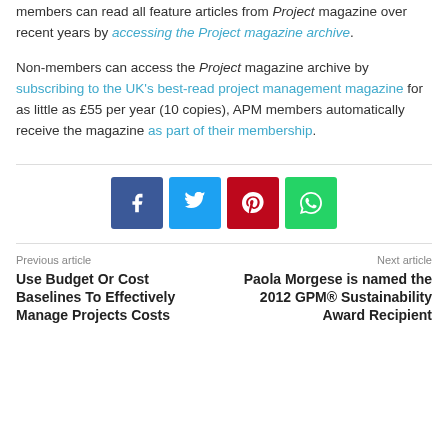members can read all feature articles from Project magazine over recent years by accessing the Project magazine archive.
Non-members can access the Project magazine archive by subscribing to the UK's best-read project management magazine for as little as £55 per year (10 copies), APM members automatically receive the magazine as part of their membership.
[Figure (other): Social sharing buttons: Facebook, Twitter, Pinterest, WhatsApp]
Previous article
Use Budget Or Cost Baselines To Effectively Manage Projects Costs
Next article
Paola Morgese is named the 2012 GPM® Sustainability Award Recipient